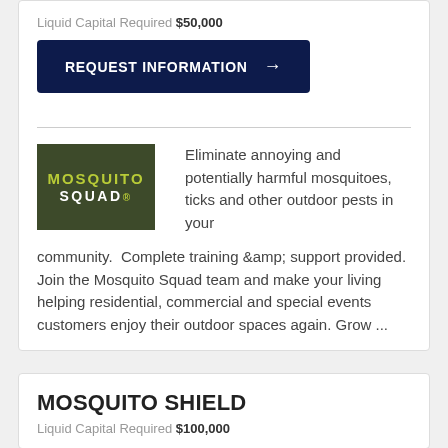Liquid Capital Required $50,000
[Figure (other): REQUEST INFORMATION button with arrow]
[Figure (logo): Mosquito Squad logo - dark olive green background with yellow-green MOSQUITO text and white SQUAD text]
Eliminate annoying and potentially harmful mosquitoes, ticks and other outdoor pests in your community. Complete training &amp; support provided. Join the Mosquito Squad team and make your living helping residential, commercial and special events customers enjoy their outdoor spaces again. Grow ...
MOSQUITO SHIELD
Liquid Capital Required $100,000